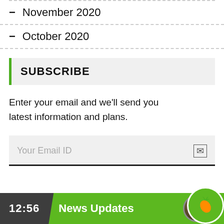November 2020
October 2020
SUBSCRIBE
Enter your email and we'll send you latest information and plans.
Your Email ID
12:56  News Updates